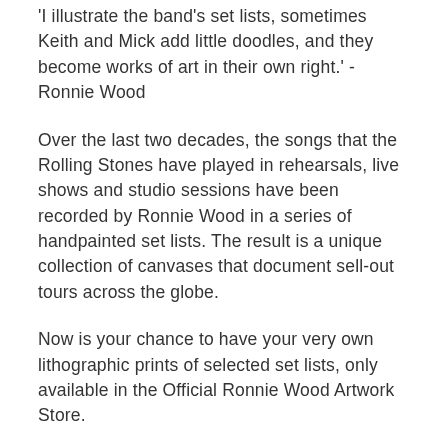'I illustrate the band's set lists, sometimes Keith and Mick add little doodles, and they become works of art in their own right.' - Ronnie Wood
Over the last two decades, the songs that the Rolling Stones have played in rehearsals, live shows and studio sessions have been recorded by Ronnie Wood in a series of handpainted set lists. The result is a unique collection of canvases that document sell-out tours across the globe.
Now is your chance to have your very own lithographic prints of selected set lists, only available in the Official Ronnie Wood Artwork Store.